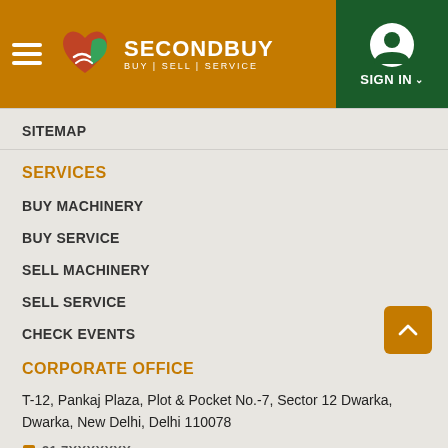SECONDBUY — BUY | SELL | SERVICE — SIGN IN
SITEMAP
SERVICES
BUY MACHINERY
BUY SERVICE
SELL MACHINERY
SELL SERVICE
CHECK EVENTS
CORPORATE OFFICE
T-12, Pankaj Plaza, Plot & Pocket No.-7, Sector 12 Dwarka, Dwarka, New Delhi, Delhi 110078
91 7XXXXXXX